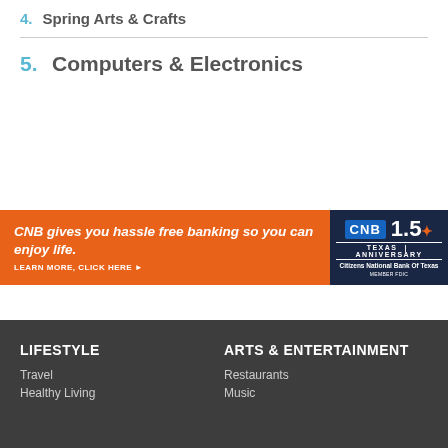4. Spring Arts & Crafts
5. Computers & Electronics
[Figure (other): CNB Citizens National Bank of Texas advertisement banner. Orange left panel reads 'CNB gives you hassle free banking so you can enjoy life. LEARN MORE, CLICK HERE'. Right dark blue panel shows CNB 150th Anniversary logo.]
LIFESTYLE
ARTS & ENTERTAINMENT
Travel
Restaurants
Healthy Living
Music